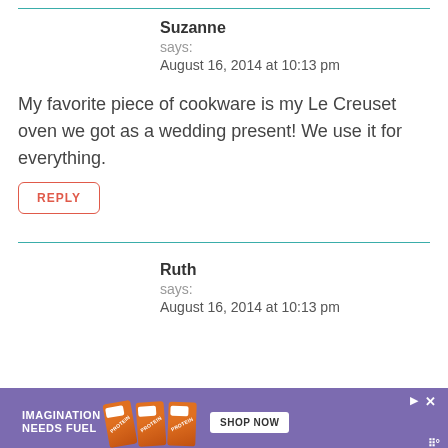Suzanne
says:
August 16, 2014 at 10:13 pm
My favorite piece of cookware is my Le Creuset oven we got as a wedding present! We use it for everything.
REPLY
Ruth
says:
August 16, 2014 at 10:13 pm
[Figure (advertisement): Purple ad banner for protein bars: IMAGINATION NEEDS FUEL with SHOP NOW button]